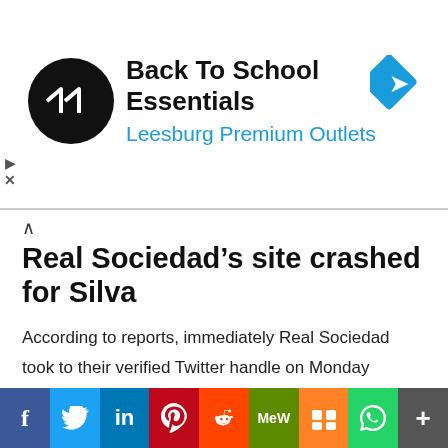[Figure (other): Advertisement banner: Back To School Essentials, Leesburg Premium Outlets with logo and arrow icon]
Real Sociedad’s site crashed for Silva
According to reports, immediately Real Sociedad took to their verified Twitter handle on Monday evening to confirm that the former Manchester City star has joined the club, fans of the club began to rush to the club’s site for details.
The unprecedented amount of traffic the site experienced within a very short period of time forced the site to crash before it was brought back online.
[Figure (other): Social media share buttons bar: Facebook, Twitter, LinkedIn, Pinterest, Reddit, MeWe, Mix, WhatsApp, More]